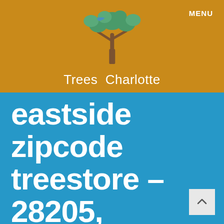MENU
[Figure (logo): Trees Charlotte logo with a tree illustration above the text 'Trees Charlotte']
eastside zipcode treestore – 28205, 28212, 28215,